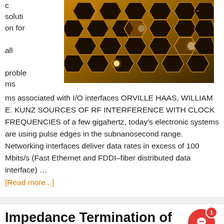c solution for all problems associated with I/O interfaces ORVILLE HAAS, WILLIAM E. KUNZ SOURCES OF RF INTERFERENCE WITH CLOCK FREQUENCIES of a few gigahertz, today's electronic systems are using pulse edges in the subnanosecond range. Networking interfaces deliver data rates in excess of 100 Mbits/s (Fast Ethernet and FDDI–fiber distributed data interface) …
[Figure (photo): Golden hexagonal mesh/network pattern with glowing orange nodes on dark background]
[Read more...]
Impedance Termination of